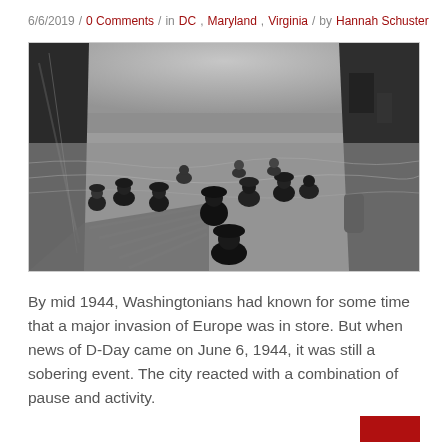6/6/2019 / 0 Comments / in DC, Maryland, Virginia / by Hannah Schuster
[Figure (photo): Black and white historical photograph of soldiers wading ashore during the D-Day invasion of Normandy, June 6, 1944, taken from a landing craft perspective showing troops in the water and on the beach.]
By mid 1944, Washingtonians had known for some time that a major invasion of Europe was in store. But when news of D-Day came on June 6, 1944, it was still a sobering event. The city reacted with a combination of pause and activity.